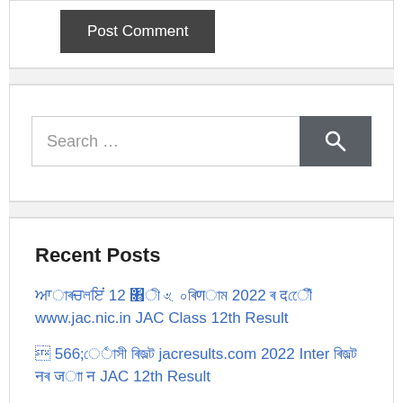Post Comment
[Figure (screenshot): Search bar with text 'Search …' and a dark search button with magnifying glass icon]
Recent Posts
झारखंड 12 वीं परिणाम 2022 – देखें www.jac.nic.in JAC Class 12th Result
जेएसी रिजल्ट jacresults.com 2022 Inter रिजल्ट – JAC 12th Result